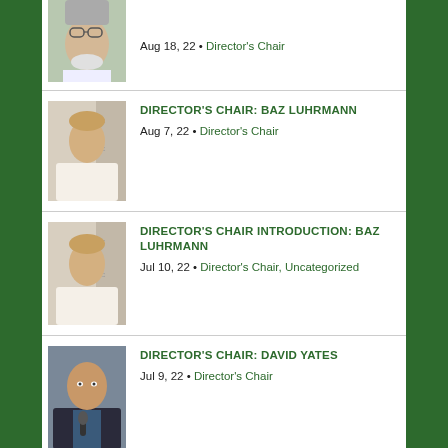[Figure (photo): Partial photo of an elderly man with glasses and white beard, cut off at top]
Aug 18, 22 • Director's Chair
[Figure (photo): Photo of a man in a white tuxedo with black bow tie]
DIRECTOR'S CHAIR: BAZ LUHRMANN
Aug 7, 22 • Director's Chair
[Figure (photo): Photo of a man in a white tuxedo with black bow tie]
DIRECTOR'S CHAIR INTRODUCTION: BAZ LUHRMANN
Jul 10, 22 • Director's Chair, Uncategorized
[Figure (photo): Photo of a bald man holding a microphone wearing a dark jacket]
DIRECTOR'S CHAIR: DAVID YATES
Jul 9, 22 • Director's Chair
[Figure (photo): Partial photo at bottom, cut off]
LAMBCAST EXTRA PORTION #61: ACTING SCHOOL 101...